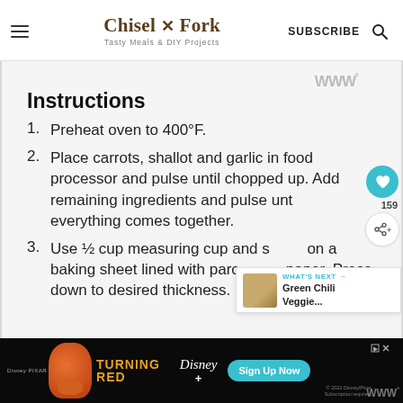Chisel × Fork — Tasty Meals & DIY Projects | SUBSCRIBE
Instructions
Preheat oven to 400°F.
Place carrots, shallot and garlic in food processor and pulse until chopped up. Add remaining ingredients and pulse until everything comes together.
Use ½ cup measuring cup and scoop on a baking sheet lined with parchment paper. Press down to desired thickness. It